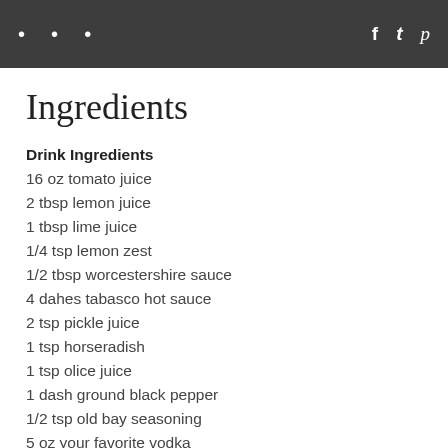••• f 𝘸 𝗽
Ingredients
Drink Ingredients
16 oz tomato juice
2 tbsp lemon juice
1 tbsp lime juice
1/4 tsp lemon zest
1/2 tbsp worcestershire sauce
4 dahes tabasco hot sauce
2 tsp pickle juice
1 tsp horseradish
1 tsp olice juice
1 dash ground black pepper
1/2 tsp old bay seasoning
5 oz your favorite vodka
Garnish Ingredients
2 pieces of candied bacon
1 tbsp sriracha salt
2 celery stalks